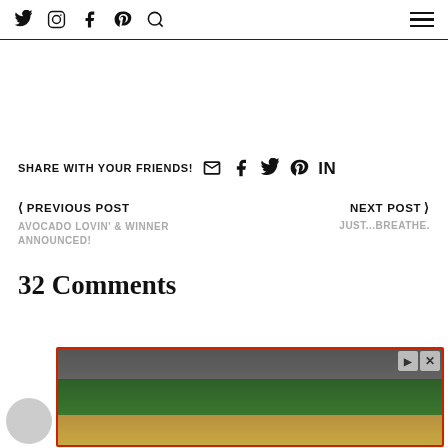Social media icons: Twitter, Instagram, Facebook, Pinterest, Search; hamburger menu
SHARE WITH YOUR FRIENDS! [email] [facebook] [twitter] [pinterest] [linkedin]
< PREVIOUS POST
AVOCADO LOVIN' & WINNER ANNOUNCED!
NEXT POST >
JUST...BREATHE.
32 Comments
[Figure (screenshot): Advertisement banner with landscape/resort photo, play and close buttons, with red border]